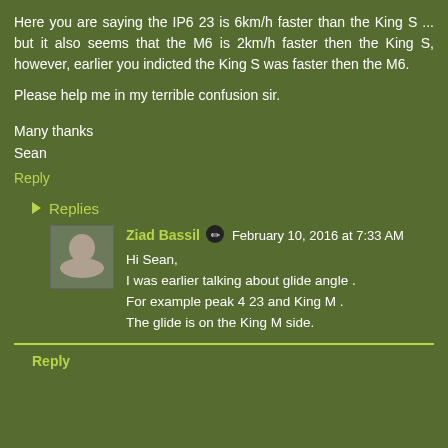Here you are saying the IP6 23 is 6km/h faster than the King S ... but it also seems that the M6 is 2km/h faster then the King S, however, earlier you indicted the King S was faster then the M6.
Please help me in my terrible confusion sir.
Many thanks
Sean
Reply
Replies
Ziad Bassil  ✏  February 10, 2016 at 7:33 AM
Hi Sean,
I was earlier talking about glide angle .
For example peak 4 23 and King M .
The glide is on the King M side.
Reply